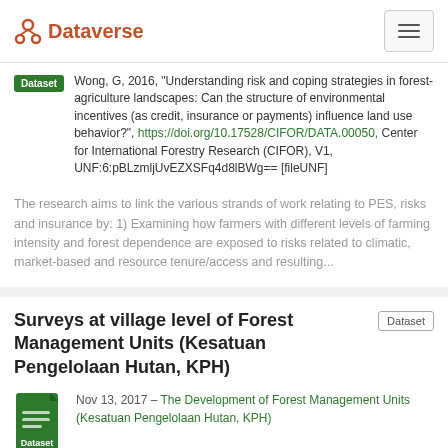Dataverse
Wong, G, 2016, "Understanding risk and coping strategies in forest-agriculture landscapes: Can the structure of environmental incentives (as credit, insurance or payments) influence land use behavior?", https://doi.org/10.17528/CIFOR/DATA.00050, Center for International Forestry Research (CIFOR), V1, UNF:6:pBLzmljUvEZXSFq4d8lBWg== [fileUNF]
The research aims to link the various strands of work relating to PES, risks and insurance by: 1) Examining how farmers with different levels of farming intensity and forest dependence are exposed to risks related to climatic, market-based and resource tenure/access and resulting...
Surveys at village level of Forest Management Units (Kesatuan Pengelolaan Hutan, KPH)
Nov 13, 2017 – The Development of Forest Management Units (Kesatuan Pengelolaan Hutan, KPH)